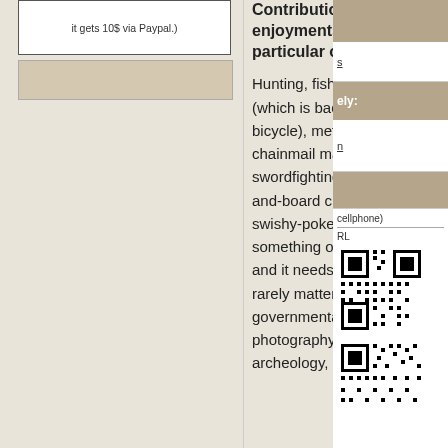it gets 10$ via Paypal.)
Contributions and enjoyments (in absolutely no particular order):
Hunting, fishing, bikepacking (which is backpacking on a bicycle), metal & woodworking, chainmail making, piracy, swordfighting (NOT the SCA stick-and-board crap or the form-heavy swishy-poke of fencing), fixing (IE. something or someone is broken and it needs to be unbroken, rarely matters what it is), governmental politics, computers, photography, metal detecting, archeology, anthropology, gaming
s
ely:
n
cellphone)
RL
[Figure (other): QR code (top)]
[Figure (other): QR code (bottom, partial)]